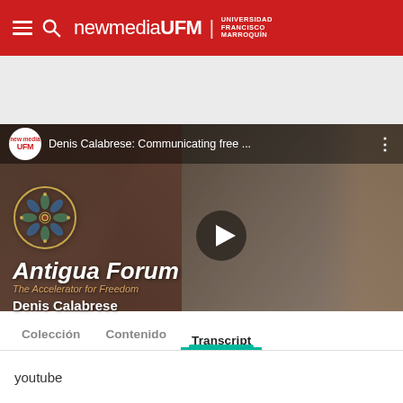[Figure (screenshot): newmediaUFM website header with red background, hamburger menu, search icon, and newmediaUFM | Universidad Francisco Marroquin logo in white text]
[Figure (screenshot): YouTube video thumbnail showing Denis Calabrese with Antigua Forum logo overlay and play button. Title bar reads: Denis Calabrese: Communicating free ...]
Colección   Contenido   Transcript
youtube